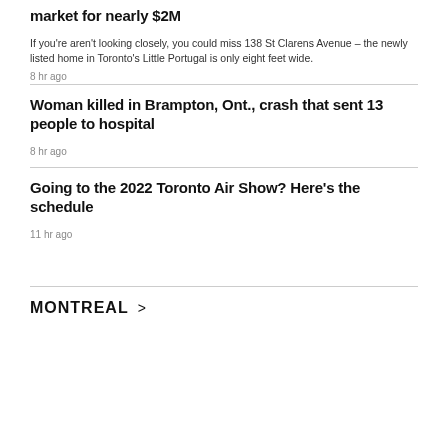market for nearly $2M
If you're aren't looking closely, you could miss 138 St Clarens Avenue – the newly listed home in Toronto's Little Portugal is only eight feet wide.
8 hr ago
Woman killed in Brampton, Ont., crash that sent 13 people to hospital
8 hr ago
Going to the 2022 Toronto Air Show? Here's the schedule
11 hr ago
MONTREAL >